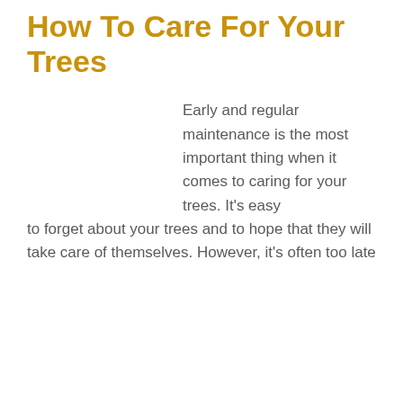How To Care For Your Trees
Early and regular maintenance is the most important thing when it comes to caring for your trees. It's easy to forget about your trees and to hope that they will take care of themselves. However, it's often too late